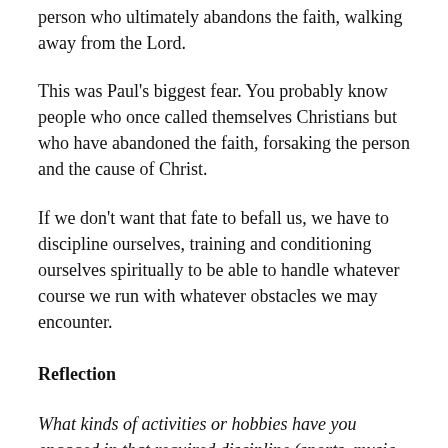person who ultimately abandons the faith, walking away from the Lord.
This was Paul's biggest fear. You probably know people who once called themselves Christians but who have abandoned the faith, forsaking the person and the cause of Christ.
If we don't want that fate to befall us, we have to discipline ourselves, training and conditioning ourselves spiritually to be able to handle whatever course we run with whatever obstacles we may encounter.
Reflection
What kinds of activities or hobbies have you engaged in that required discipline (sports, music, mental, etc.)?